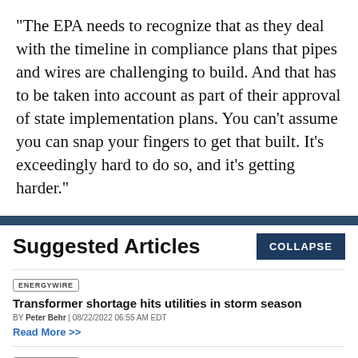"The EPA needs to recognize that as they deal with the timeline in compliance plans that pipes and wires are challenging to build. And that has to be taken into account as part of their approval of state implementation plans. You can't assume you can snap your fingers to get that built. It's exceedingly hard to do so, and it's getting harder."
Suggested Articles
ENERGYWIRE
Transformer shortage hits utilities in storm season
BY Peter Behr | 08/22/2022 06:55 AM EDT
Read More >>
ENERGYWIRE
Permitting deal: Pipeline boom or 'propaganda exercise?'